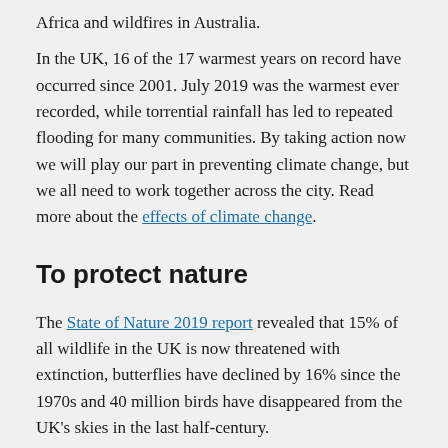Africa and wildfires in Australia.
In the UK, 16 of the 17 warmest years on record have occurred since 2001. July 2019 was the warmest ever recorded, while torrential rainfall has led to repeated flooding for many communities. By taking action now we will play our part in preventing climate change, but we all need to work together across the city. Read more about the effects of climate change.
To protect nature
The State of Nature 2019 report revealed that 15% of all wildlife in the UK is now threatened with extinction, butterflies have declined by 16% since the 1970s and 40 million birds have disappeared from the UK's skies in the last half-century.